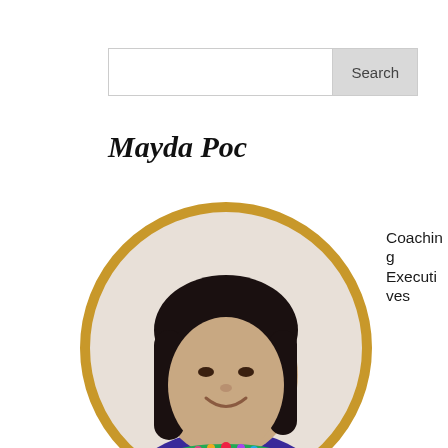Search
Mayda Poc
[Figure (photo): Circular portrait photo of Mayda Poc, a woman with dark shoulder-length hair, smiling, wearing a purple top with colorful beaded necklace, framed with a gold/dark-yellow circular border.]
Coaching Executives